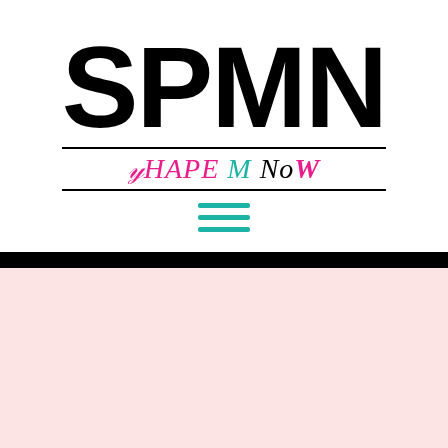[Figure (logo): SPMN Shape M Now logo. Large bold black letters SPMN on top, with stylized italic tagline 'SHAPE M NOW' below in pink, teal, and black script with horizontal border lines.]
[Figure (other): Hamburger menu icon — three horizontal teal lines stacked vertically, centered on the page.]
[Figure (other): A thick black horizontal bar across the full width of the page, followed by a large light pink rectangle filling the lower portion of the page.]